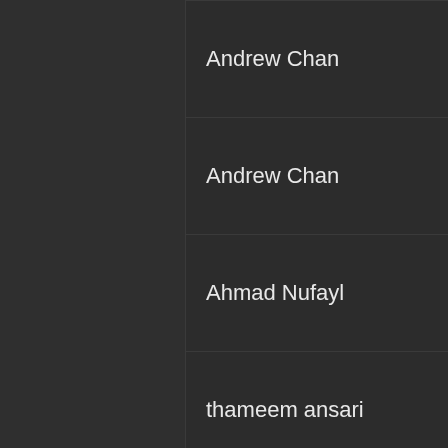| Name | Gender | Position |
| --- | --- | --- |
| Andrew Chan | Male | Midfield - C |
| Andrew Chan | Male | Midfield - C |
| Ahmad Nufayl | Male | Striker |
| thameem ansari | Male | Utility Player |
| Azizi R | Male | Attacking m... |
| Iryan Abdul Karim | Male | Utility Player |